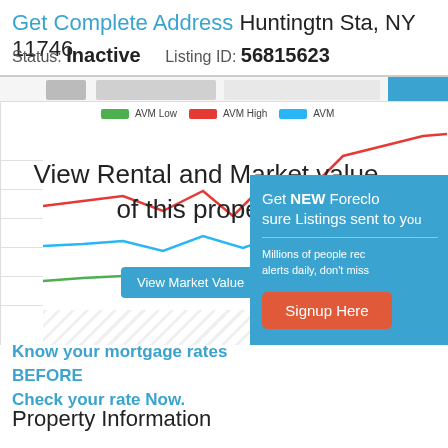Get Complete Address Huntingtn Sta, NY 11746
Status: Inactive    Listing ID: 56815623
[Figure (screenshot): Screenshot of a real estate website showing a line chart with AVM Low (green), AVM High (red), and AVM (blue) trend lines over time, with an overlay reading 'View Rental and Market value of this property' and a 'View Market Value' button. A popup dialog is partially visible on the right side with text 'Get NEW Foreclosure Listings sent to you', a 'Signup Here' button, and 'No Thanks | Remind Me' link.]
Know your mortgage rates BEFORE you buy. Check your rate Now.
Property Information